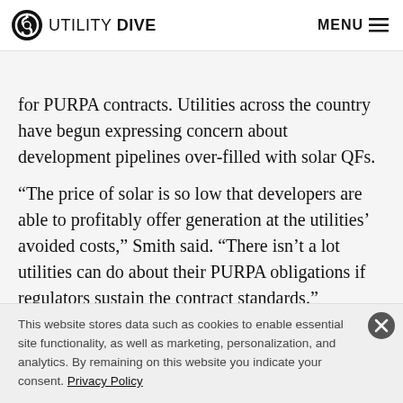UTILITY DIVE  MENU
for PURPA contracts. Utilities across the country have begun expressing concern about development pipelines over-filled with solar QFs.
“The price of solar is so low that developers are able to profitably offer generation at the utilities’ avoided costs,” Smith said. “There isn’t a lot utilities can do about their PURPA obligations if regulators sustain the contract standards.”
This website stores data such as cookies to enable essential site functionality, as well as marketing, personalization, and analytics. By remaining on this website you indicate your consent. Privacy Policy